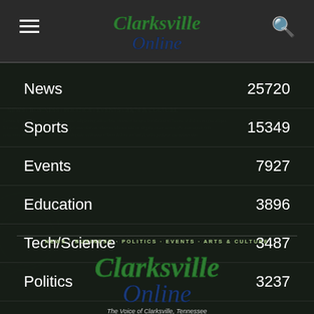Clarksville Online
News 25720
Sports 15349
Events 7927
Education 3896
Tech/Science 3487
Politics 3237
[Figure (logo): Clarksville Online logo with tagline 'The Voice of Clarksville, Tennessee']